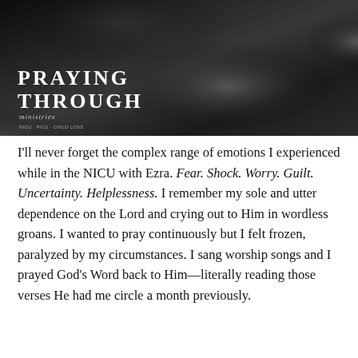[Figure (photo): Black and white photograph of a person leaning over, showing tattooed arms. Overlaid with the text 'PRAYING THROUGH' in bold uppercase letters with decorative subtitle text below.]
I'll never forget the complex range of emotions I experienced while in the NICU with Ezra. Fear. Shock. Worry. Guilt. Uncertainty. Helplessness. I remember my sole and utter dependence on the Lord and crying out to Him in wordless groans. I wanted to pray continuously but I felt frozen, paralyzed by my circumstances. I sang worship songs and I prayed God's Word back to Him—literally reading those verses He had me circle a month previously.